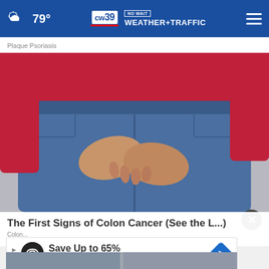79° CW39 NO WAIT WEATHER+TRAFFIC
Plaque Psoriasis
[Figure (photo): Close-up rear view of a person in a red top and blue jeans, with hands clasped behind their back near the lower back/hip area.]
The First Signs of Colon Cancer (See the L...)
Colon...
Save Up to 65%
Leesburg Premium Outlets